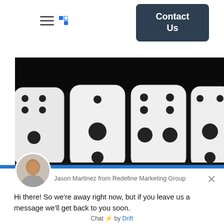[Figure (screenshot): Navigation bar with hamburger menu icon, blue resize/close icon, and a dark teal 'Contact Us' button on the right]
[Figure (photo): Black and white photo of four white dice lined up showing various dots on their faces against a black background]
Jason Martinez from Redefine Marketing Group
Hi there! So we're away right now, but if you leave us a message we'll get back to you soon.
Reply to Jason Martinez
Chat ⚡ by Drift